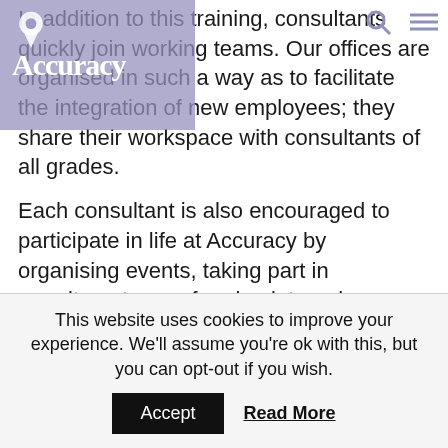[Figure (logo): Accuracy company logo with teardrop/pin icon above text]
In addition to this training, consultants quickly join working teams. Our offices are organised in such a way as to facilitate the integration of new employees; they share their workspace with consultants of all grades.
Each consultant is also encouraged to participate in life at Accuracy by organising events, taking part in recruitment or performing internal projects, for example. This enables them to meet consultants from
This website uses cookies to improve your experience. We'll assume you're ok with this, but you can opt-out if you wish.
Accept
Read More